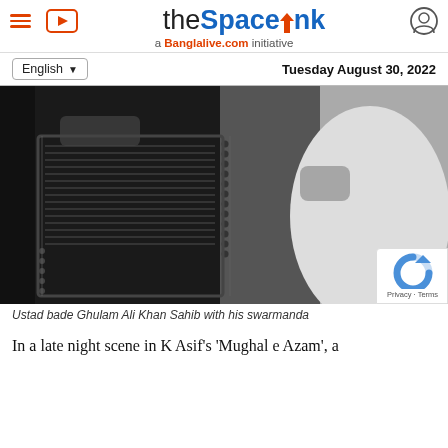theSpaceInk — a Banglalive.com initiative
English   Tuesday August 30, 2022
[Figure (photo): Black and white photograph of Ustad bade Ghulam Ali Khan Sahib with his swarmandal instrument]
Ustad bade Ghulam Ali Khan Sahib with his swarmanda
In a late night scene in K Asif's 'Mughal e Azam', a